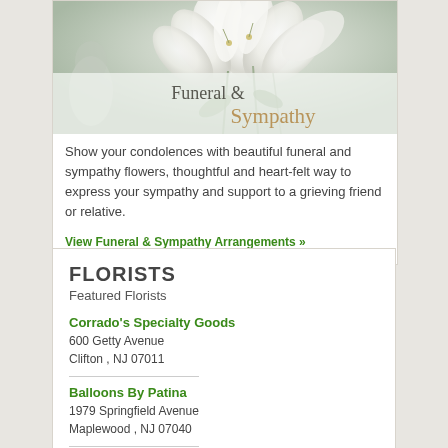[Figure (photo): White lilies funeral and sympathy flowers arrangement with text overlay reading 'Funeral & Sympathy']
Show your condolences with beautiful funeral and sympathy flowers, thoughtful and heart-felt way to express your sympathy and support to a grieving friend or relative.
View Funeral & Sympathy Arrangements »
FLORISTS
Featured Florists
Corrado's Specialty Goods
600 Getty Avenue
Clifton , NJ 07011
Balloons By Patina
1979 Springfield Avenue
Maplewood , NJ 07040
A&A Beginnings Florist...